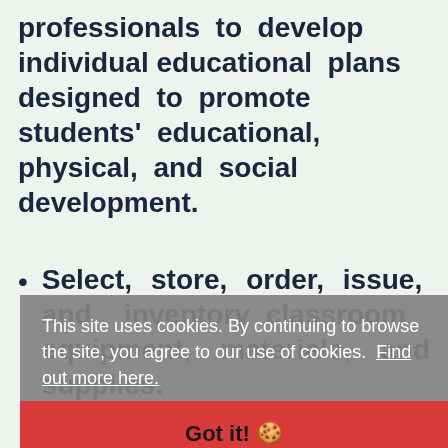professionals to develop individual educational plans designed to promote students' educational, physical, and social development.
Select, store, order, issue, and inventory classroom equipment, materials, and supplies.
Confer with other staff members to plan and...
A...
Perform administrative duties and...